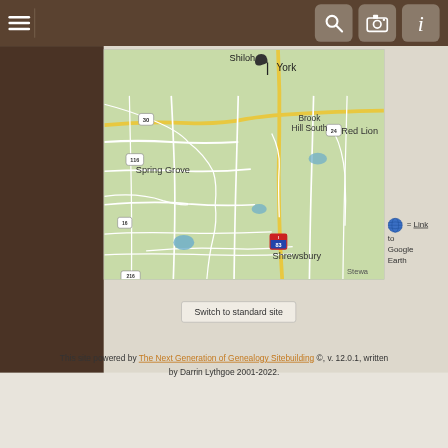[Figure (screenshot): Top navigation bar with hamburger menu on left and three icon buttons (search, camera, info) on right, brown background]
[Figure (map): Google Maps view showing York PA area including Spring Grove, Brook Hill South, Red Lion, Shrewsbury, Stewartstown, with Route 30, 116, 24, 216 and I-83 marked]
= Link to Google Earth
Switch to standard site
This site powered by The Next Generation of Genealogy Sitebuilding ©, v. 12.0.1, written by Darrin Lythgoe 2001-2022.